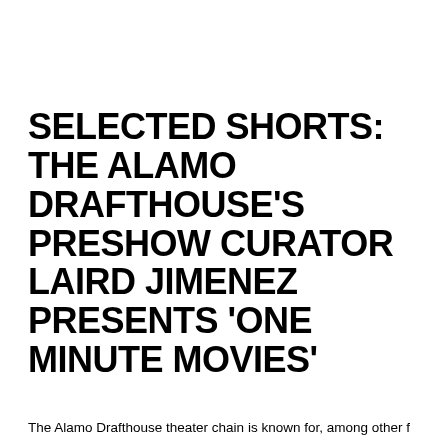SELECTED SHORTS: THE ALAMO DRAFTHOUSE'S PRESHOW CURATOR LAIRD JIMENEZ PRESENTS 'ONE MINUTE MOVIES'
The Alamo Drafthouse theater chain is known for, among other f…